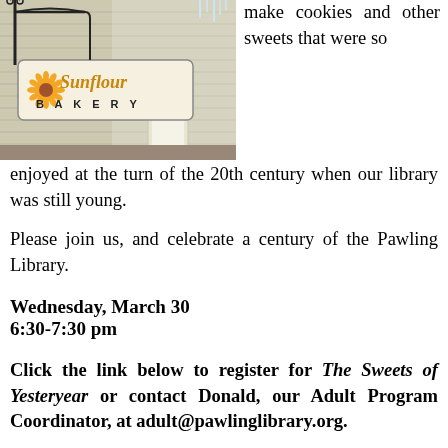[Figure (photo): Exterior sign of Sunflour Bakery with sunflower logo, hanging wrought-iron sign bracket, white building siding and arched doorway visible]
make cookies and other sweets that were so enjoyed at the turn of the 20th century when our library was still young.
Please join us, and celebrate a century of the Pawling Library.
Wednesday, March 30
6:30-7:30 pm
Click the link below to register for The Sweets of Yesteryear or contact Donald, our Adult Program Coordinator, at adult@pawlinglibrary.org.